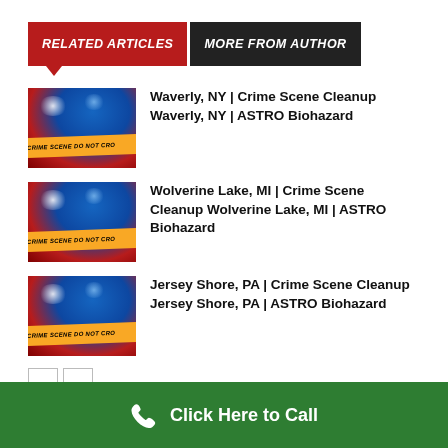RELATED ARTICLES  MORE FROM AUTHOR
Waverly, NY | Crime Scene Cleanup Waverly, NY | ASTRO Biohazard
Wolverine Lake, MI | Crime Scene Cleanup Wolverine Lake, MI | ASTRO Biohazard
Jersey Shore, PA | Crime Scene Cleanup Jersey Shore, PA | ASTRO Biohazard
Click Here to Call